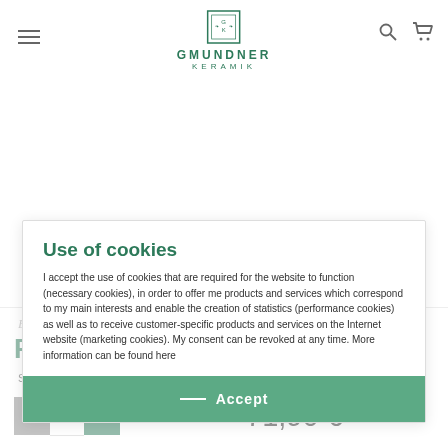GMUNDNER KERAMIK
[Figure (screenshot): Product image carousel area with navigation arrows and page indicators (1, 2)]
Blue flamed
Platter Oval
Sku: 0102POSE33
Use of cookies
I accept the use of cookies that are required for the website to function (necessary cookies), in order to offer me products and services which correspond to my main interests and enable the creation of statistics (performance cookies) as well as to receive customer-specific products and services on the Internet website (marketing cookies). My consent can be revoked at any time. More information can be found here
Accept
71,90 €